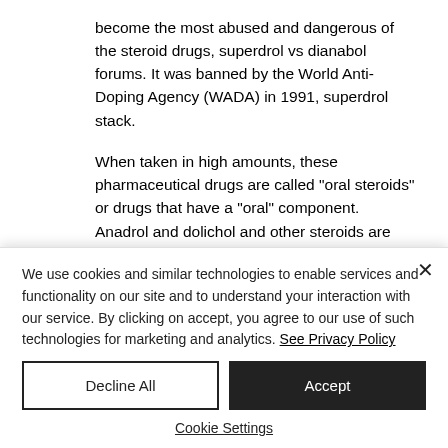become the most abused and dangerous of the steroid drugs, superdrol vs dianabol forums. It was banned by the World Anti-Doping Agency (WADA) in 1991, superdrol stack.
When taken in high amounts, these pharmaceutical drugs are called "oral steroids" or drugs that have a "oral" component. Anadrol and dolichol and other steroids are commonly used in
We use cookies and similar technologies to enable services and functionality on our site and to understand your interaction with our service. By clicking on accept, you agree to our use of such technologies for marketing and analytics. See Privacy Policy